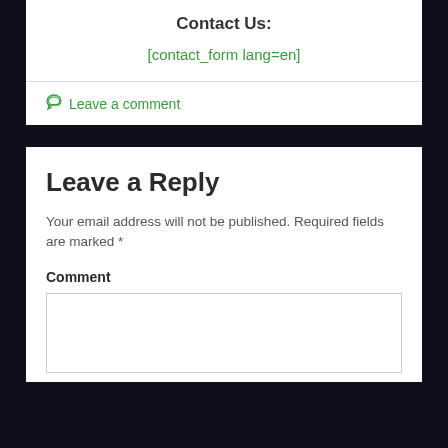Contact Us:
[contact_form lang=en]
Leave a comment
Leave a Reply
Your email address will not be published. Required fields are marked *
Comment